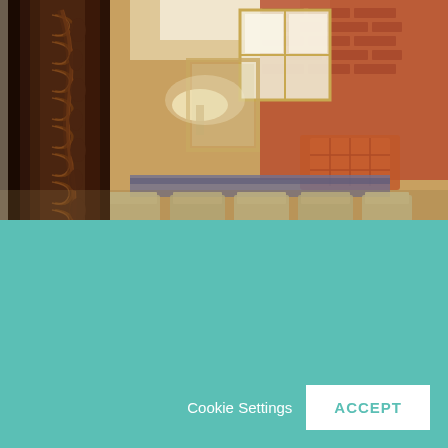[Figure (photo): Interior of a furniture or antique shop. Left foreground shows a dark carved wooden column with intricate decorative relief carvings. Background shows a warm interior with brick walls, a bright window, an orange/rust tufted sofa or chair, cream/beige dining chairs, and a dark counter or table surface. Warm lighting throughout.]
Please note that our website utilizes cookies for website functionality, enhanced features to improve your experience, and to support the collection of analytics about user visits. If you choose to disable cookies, you may be unable to access certain features of our website. All of this is in alignment with our Privacy Policy